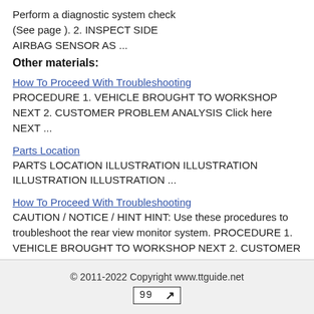Perform a diagnostic system check (See page ). 2. INSPECT SIDE AIRBAG SENSOR AS ...
Other materials:
How To Proceed With Troubleshooting
PROCEDURE 1. VEHICLE BROUGHT TO WORKSHOP NEXT 2. CUSTOMER PROBLEM ANALYSIS Click here NEXT ...
Parts Location
PARTS LOCATION ILLUSTRATION ILLUSTRATION ILLUSTRATION ILLUSTRATION ...
How To Proceed With Troubleshooting
CAUTION / NOTICE / HINT HINT: Use these procedures to troubleshoot the rear view monitor system. PROCEDURE 1. VEHICLE BROUGHT TO WORKSHOP NEXT 2. CUSTOMER PROBLEM ANALYSIS ...
© 2011-2022 Copyright www.ttguide.net